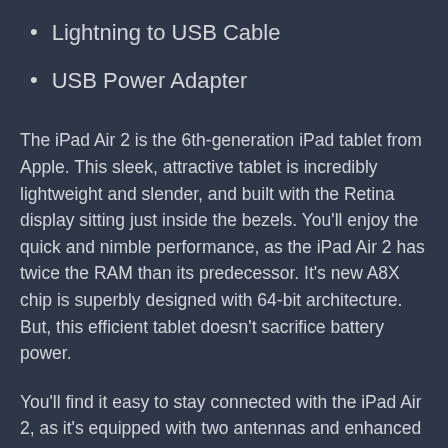Lightning to USB Cable
USB Power Adapter
The iPad Air 2 is the 6th-generation iPad tablet from Apple. This sleek, attractive tablet is incredibly lightweight and slender, and built with the Retina display sitting just inside the bezels. You'll enjoy the quick and nimble performance, as the iPad Air 2 has twice the RAM than its predecessor. It's new A8X chip is superbly designed with 64-bit architecture. But, this efficient tablet doesn't sacrifice battery power.
You'll find it easy to stay connected with the iPad Air 2, as it's equipped with two antennas and enhanced with MIMO technology. This means you'll get better wireless performance.